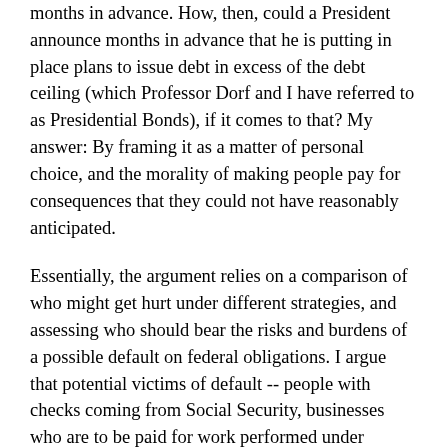months in advance.  How, then, could a President announce months in advance that he is putting in place plans to issue debt in excess of the debt ceiling (which Professor Dorf and I have referred to as Presidential Bonds), if it comes to that?  My answer: By framing it as a matter of personal choice, and the morality of making people pay for consequences that they could not have reasonably anticipated.
Essentially, the argument relies on a comparison of who might get hurt under different strategies, and assessing who should bear the risks and burdens of a possible default on federal obligations.  I argue that potential victims of default -- people with checks coming from Social Security, businesses who are to be paid for work performed under government contracts, holders of Treasury securities expecting scheduled interest payments, and so on -- would be forced